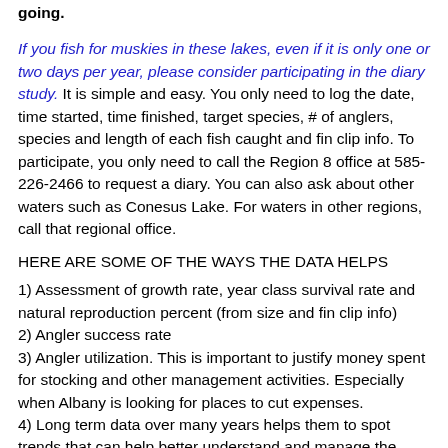going.
If you fish for muskies in these lakes, even if it is only one or two days per year, please consider participating in the diary study. It is simple and easy. You only need to log the date, time started, time finished, target species, # of anglers, species and length of each fish caught and fin clip info. To participate, you only need to call the Region 8 office at 585-226-2466 to request a diary. You can also ask about other waters such as Conesus Lake. For waters in other regions, call that regional office.
HERE ARE SOME OF THE WAYS THE DATA HELPS
1) Assessment of growth rate, year class survival rate and natural reproduction percent (from size and fin clip info)
2) Angler success rate
3) Angler utilization. This is important to justify money spent for stocking and other management activities. Especially when Albany is looking for places to cut expenses.
4) Long term data over many years helps them to spot trends that can help better understand and manage the dynamics of the fishery as well as plan for the future.
5) All of these benefits will hopefully help to shape up the quality of the